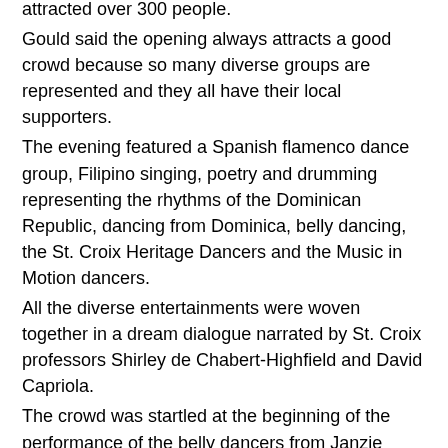attracted over 300 people. Gould said the opening always attracts a good crowd because so many diverse groups are represented and they all have their local supporters. The evening featured a Spanish flamenco dance group, Filipino singing, poetry and drumming representing the rhythms of the Dominican Republic, dancing from Dominica, belly dancing, the St. Croix Heritage Dancers and the Music in Motion dancers. All the diverse entertainments were woven together in a dream dialogue narrated by St. Croix professors Shirley de Chabert-Highfield and David Capriola. The crowd was startled at the beginning of the performance of the belly dancers from Janzie Allmacher's UVI class when the power went out and the cafetorium went dark. But the lights came back on within moments, and the dancing was greeted with cheers. Capriola told the audience he had not told his wife about this